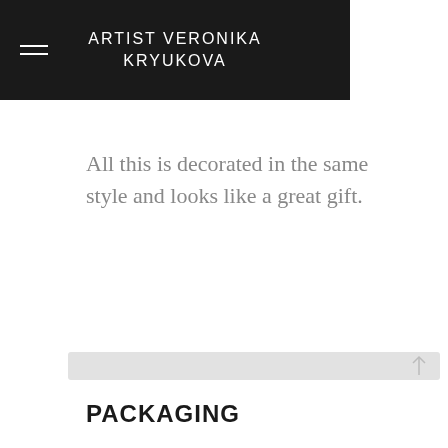ARTIST VERONIKA KRYUKOVA
All this is decorated in the same style and looks like a great gift.
PACKAGING